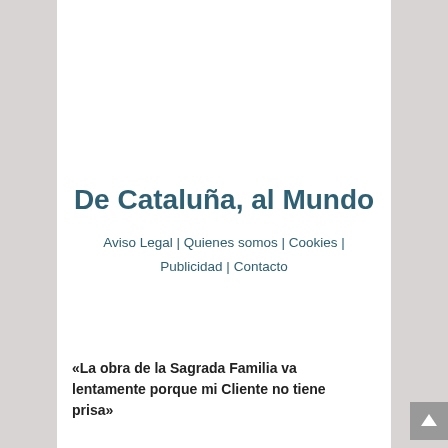De Cataluña, al Mundo
Aviso Legal | Quienes somos | Cookies | Publicidad | Contacto
«La obra de la Sagrada Familia va lentamente porque mi Cliente no tiene prisa»